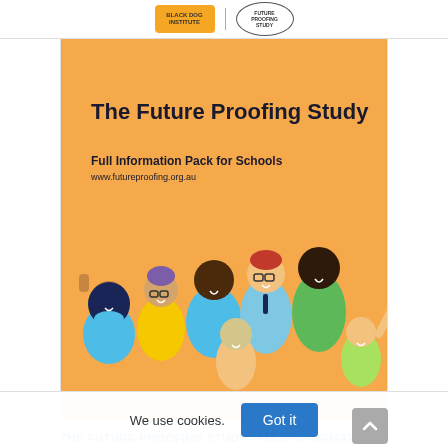[Figure (logo): Black Dog Institute and Future Proofing Study logos at top]
[Figure (illustration): Orange-background cover of 'The Future Proofing Study – Full Information Pack for Schools' brochure showing diverse group of illustrated young people and text www.futureproofing.org.au]
THE FUTURE PROOFING STUDY - FULL INFORMATION PACK FOR SCHOOLS WWW.FUTUREPROOFING.ORG.AU - BLACK DOG
We use cookies.
Got it